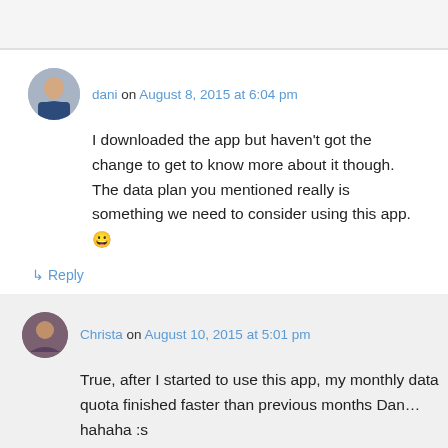dani on August 8, 2015 at 6:04 pm
I downloaded the app but haven't got the change to get to know more about it though. The data plan you mentioned really is something we need to consider using this app. 😀
↳ Reply
Christa on August 10, 2015 at 5:01 pm
True, after I started to use this app, my monthly data quota finished faster than previous months Dan… hahaha :s